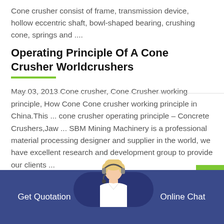Cone crusher consist of frame, transmission device, hollow eccentric shaft, bowl-shaped bearing, crushing cone, springs and ....
Operating Principle Of A Cone Crusher Worldcrushers
May 03, 2013 Cone crusher, Cone Crusher working principle, How Cone Cone crusher working principle in China.This ... cone crusher operating principle – Concrete Crushers,Jaw ... SBM Mining Machinery is a professional material processing designer and supplier in the world, we have excellent research and development group to provide our clients ...
Get Quotation   Online Chat